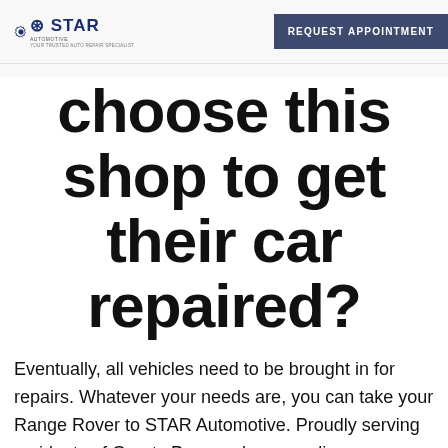STAR AUTOMOTIVE — REQUEST APPOINTMENT
choose this shop to get their car repaired?
Eventually, all vehicles need to be brought in for repairs. Whatever your needs are, you can take your Range Rover to STAR Automotive. Proudly serving residents of Grants Pass and surrounding areas since 1975, our Quality